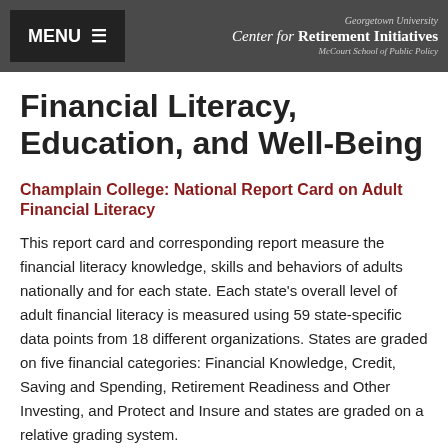MENU ≡ | Georgetown University Center for Retirement Initiatives McCourt School of Public Policy
Financial Literacy, Education, and Well-Being
Champlain College: National Report Card on Adult Financial Literacy
This report card and corresponding report measure the financial literacy knowledge, skills and behaviors of adults nationally and for each state. Each state's overall level of adult financial literacy is measured using 59 state-specific data points from 18 different organizations. States are graded on five financial categories: Financial Knowledge, Credit, Saving and Spending, Retirement Readiness and Other Investing, and Protect and Insure and states are graded on a relative grading system.